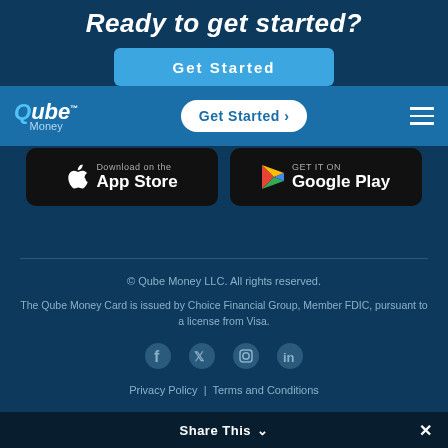Ready to get started?
[Figure (screenshot): Blue 'Get Started' button in dark blue top area]
[Figure (logo): Qube Money logo with text and navigation bar including Get Started button and hamburger menu]
[Figure (screenshot): App Store download button (black, Apple logo)]
[Figure (screenshot): Google Play download button (black, Google Play logo)]
© Qube Money LLC. All rights reserved.
The Qube Money Card is issued by Choice Financial Group, Member FDIC, pursuant to a license from Visa.
[Figure (infographic): Social media icons: Facebook, Twitter, Instagram, LinkedIn]
Privacy Policy | Terms and Conditions
Share This ∨ ✕